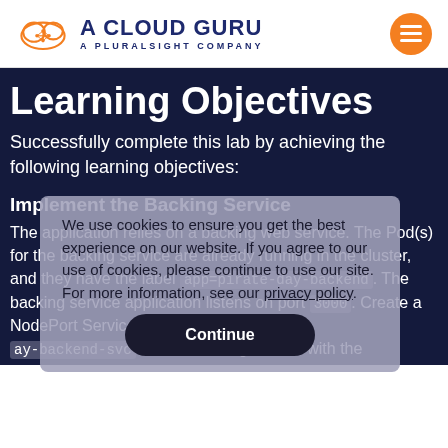[Figure (logo): A Cloud Guru logo with orange cloud icon and dark blue text, A Pluralsight Company subtitle]
Learning Objectives
Successfully complete this lab by achieving the following learning objectives:
We use cookies to ensure you get the best experience on our website. If you agree to our use of cookies, please continue to use our site. For more information, see our privacy policy.
Implement the Backing Service
The application relies on a backing web service. The Pod(s) for the backing service are already running in the cluster, and they have the label app=pirate-day-backend. The backing service application listens on port 3000. Create a NodePort Service called pirate-day-backend-svc for this backing service with the